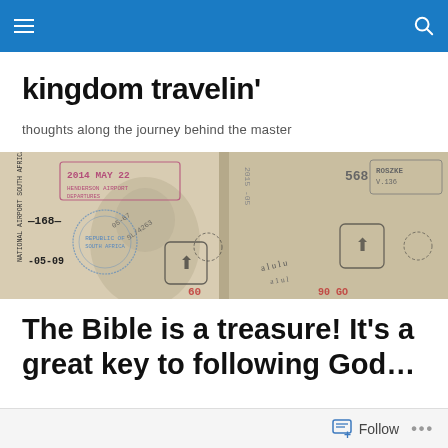kingdom travelin' — navigation bar
kingdom travelin'
thoughts along the journey behind the master
[Figure (photo): Close-up of passport pages showing various entry/exit stamps including dates 2014 MAY 22, 2015-05, stamp number 168, locations including National Airport South Africa, and Roszke V.136]
The Bible is a treasure! It's a great key to following God...
Follow ...